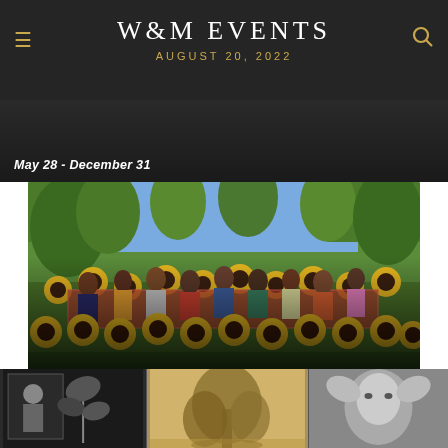W&M EVENTS
AUGUST 20, 2022
May 28 - December 31
[Figure (photo): Colorful folk-art painting of diverse group of people standing behind a table surrounded by sunflowers with trees in background]
Now Online -Art History's The Curatorial Project: "The Art of Well Being", Student Presentations
May 27 - December 31
[Figure (photo): Three-panel image strip: black and white illustration on left, sepia tree painting in center, black and white portrait photograph on right]